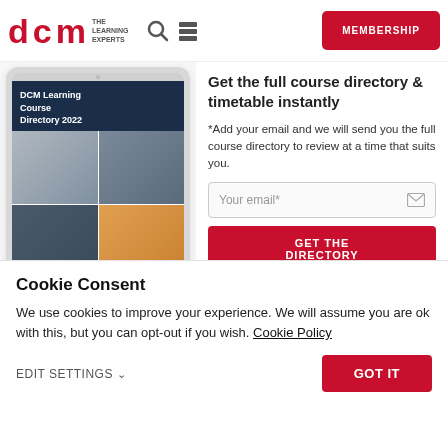[Figure (logo): DCM The Learning Experts logo in red, with search icon and grid icon, and red MEMBERSHIP button]
[Figure (illustration): Tablet device showing DCM Learning Course Directory 2022 cover with dark blue background, white text, and four photo collage images]
Get the full course directory & timetable instantly
*Add your email and we will send you the full course directory to review at a time that suits you.
Your email*
GET THE DIRECTORY
Cookie Consent
We use cookies to improve your experience. We will assume you are ok with this, but you can opt-out if you wish. Cookie Policy
EDIT SETTINGS
GOT IT